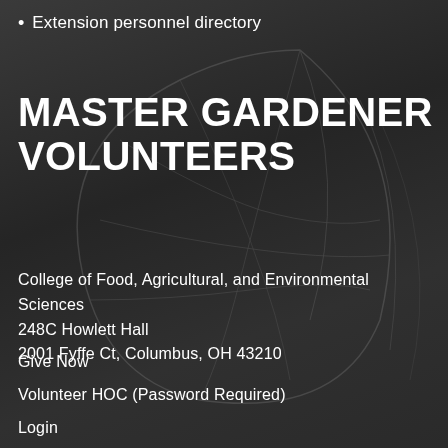Extension personnel directory
MASTER GARDENER VOLUNTEERS
College of Food, Agricultural, and Environmental Sciences
248C Howlett Hall
2001 Fyffe Ct, Columbus, OH 43210
Give Now
Volunteer HOC (Password Required)
Login